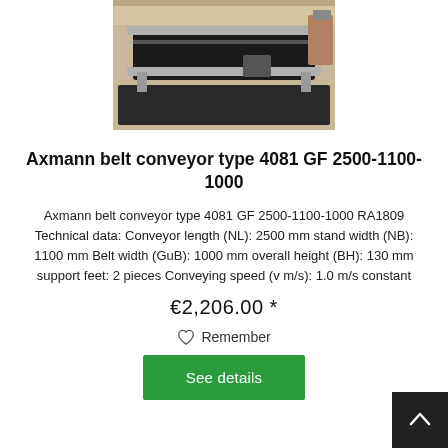[Figure (photo): Photo of Axmann belt conveyor type 4081 GF 2500-1100-1000, a flat industrial conveyor with aluminum frame and black belt, mounted on legs, in a warehouse setting.]
Axmann belt conveyor type 4081 GF 2500-1100-1000
Axmann belt conveyor type 4081 GF 2500-1100-1000 RA1809 Technical data: Conveyor length (NL): 2500 mm stand width (NB): 1100 mm Belt width (GuB): 1000 mm overall height (BH): 130 mm support feet: 2 pieces Conveying speed (v m/s): 1.0 m/s constant
€2,206.00 *
Remember
See details